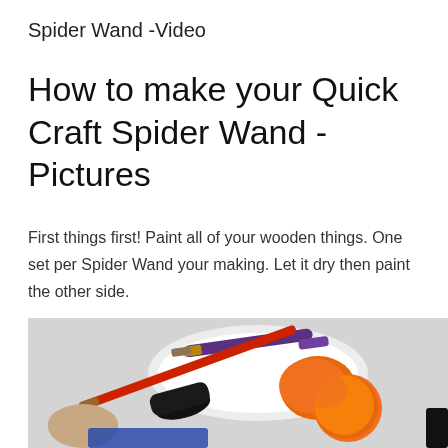Spider Wand -Video
How to make your Quick Craft Spider Wand -Pictures
First things first! Paint all of your wooden things. One set per Spider Wand your making. Let it dry then paint the other side.
[Figure (photo): A hand holding a red paintbrush painting an orange circular wooden piece, with a black spider-shaped wand piece and a purple-handled brush resting on a white paint palette in the background.]